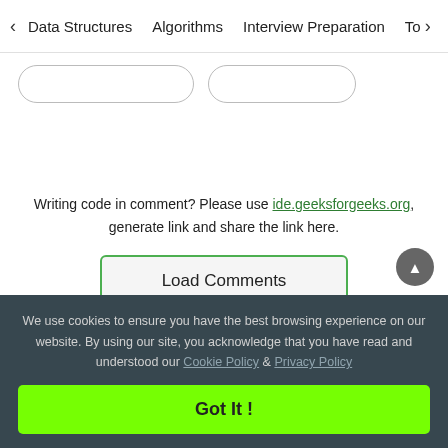< Data Structures  Algorithms  Interview Preparation  To>
[Figure (screenshot): Two outline-style rounded-rectangle buttons partially visible]
Writing code in comment? Please use ide.geeksforgeeks.org, generate link and share the link here.
Load Comments
We use cookies to ensure you have the best browsing experience on our website. By using our site, you acknowledge that you have read and understood our Cookie Policy & Privacy Policy
Got It !